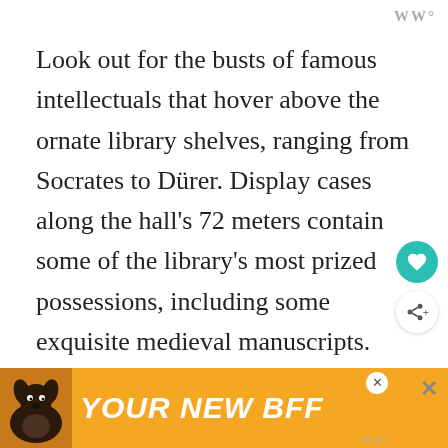WM°
Look out for the busts of famous intellectuals that hover above the ornate library shelves, ranging from Socrates to Dürer. Display cases along the hall's 72 meters contain some of the library's most prized possessions, including some exquisite medieval manuscripts.

Although the library is undoubtedly the hi... ...cords
[Figure (other): Advertisement banner showing a dog image with text 'YOUR NEW BFF' on orange background, with close/X buttons]